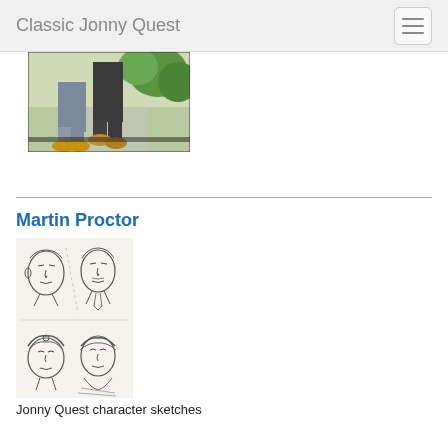Classic Jonny Quest
[Figure (illustration): Partial screenshot from Classic Jonny Quest animation showing legs and feet of two characters standing on a path with green foliage in background]
Martin Proctor
[Figure (illustration): Pencil sketch sheet showing four Jonny Quest character faces/head studies - two male faces on top and two faces with head coverings on bottom]
Jonny Quest character sketches